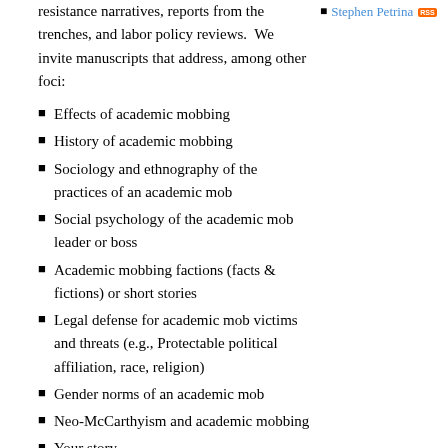resistance narratives, reports from the trenches, and labor policy reviews.  We invite manuscripts that address, among other foci:
Effects of academic mobbing
History of academic mobbing
Sociology and ethnography of the practices of an academic mob
Social psychology of the academic mob leader or boss
Academic mobbing factions (facts & fictions) or short stories
Legal defense for academic mob victims and threats (e.g., Protectable political affiliation, race, religion)
Gender norms of an academic mob
Neo-McCarthyism and academic mobbing
Your story…
Stephen Petrina